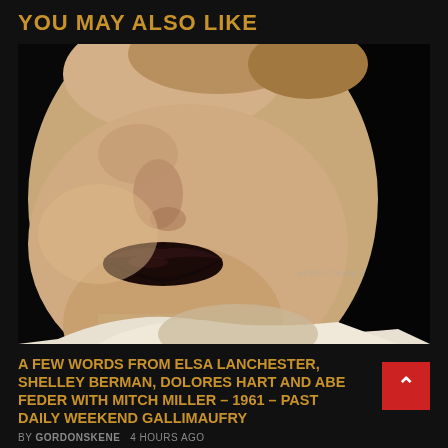YOU MAY ALSO LIKE
[Figure (photo): Black and white sepia-toned close-up photo of a woman's face showing nose, dark lips, and chin, wearing a white outfit and gloves, with a watermark reading 'DPHO / TUMBLR' in lower right area]
A FEW WORDS FROM ELSA LANCHESTER, SHELLEY BERMAN, DOLORES HART AND ABE FEDER WITH MITCH MILLER – 1961 – PAST DAILY WEEKEND GALLIMAUFRY
BY GORDONSKENE   4 HOURS AGO